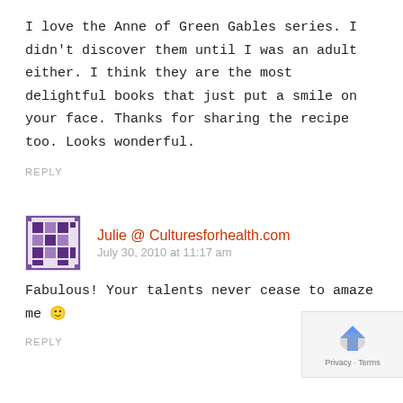I love the Anne of Green Gables series. I didn't discover them until I was an adult either. I think they are the most delightful books that just put a smile on your face. Thanks for sharing the recipe too. Looks wonderful.
REPLY
Julie @ Culturesforhealth.com
July 30, 2010 at 11:17 am
Fabulous! Your talents never cease to amaze me 🙂
REPLY